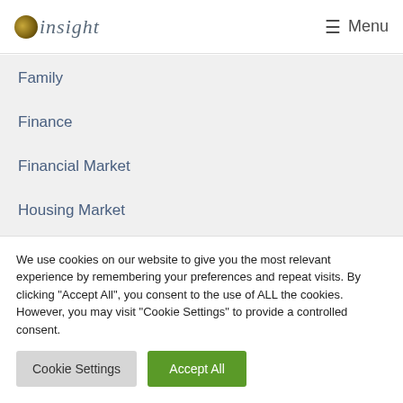insight — Menu
Family
Finance
Financial Market
Housing Market
Inheritance Tax
Internet
Investment
We use cookies on our website to give you the most relevant experience by remembering your preferences and repeat visits. By clicking "Accept All", you consent to the use of ALL the cookies. However, you may visit "Cookie Settings" to provide a controlled consent.